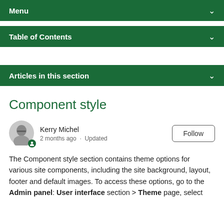Menu
Table of Contents
Articles in this section
Component style
Kerry Michel
2 months ago · Updated
The Component style section contains theme options for various site components, including the site background, layout, footer and default images. To access these options, go to the Admin panel: User interface section > Theme page, select